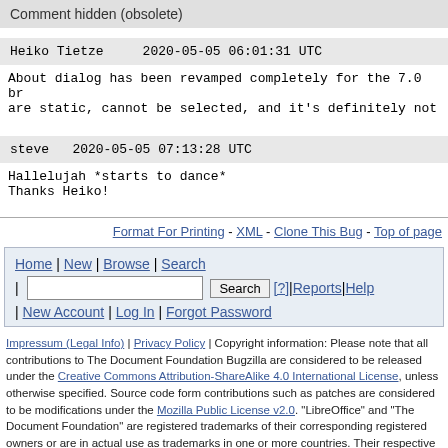Comment hidden (obsolete)
Heiko Tietze    2020-05-05 06:01:31 UTC
About dialog has been revamped completely for the 7.0 br are static, cannot be selected, and it's definitely not
steve   2020-05-05 07:13:28 UTC
Hallelujah *starts to dance*
Thanks Heiko!
Format For Printing - XML - Clone This Bug - Top of page
Home | New | Browse | Search | [Search box] | [?] | Reports | Help | New Account | Log In | Forgot Password
Impressum (Legal Info) | Privacy Policy | Copyright information: Please note that all contributions to The Document Foundation Bugzilla are considered to be released under the Creative Commons Attribution-ShareAlike 4.0 International License, unless otherwise specified. Source code form contributions such as patches are considered to be modifications under the Mozilla Public License v2.0. "LibreOffice" and "The Document Foundation" are registered trademarks of their corresponding registered owners or are in actual use as trademarks in one or more countries. Their respective logos and icons are also subject to international copyright laws. Use thereof is explained in our trademark policy.